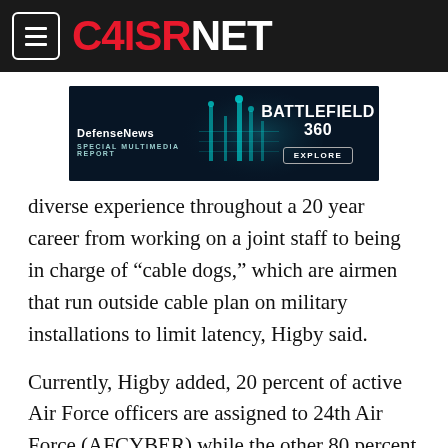C4ISRNET
[Figure (illustration): DefenseNews advertisement banner: 'BATTLEFIELD 360 SPECIAL MULTIMEDIA REPORT EXPLORE']
diverse experience throughout a 20 year career from working on a joint staff to being in charge of “cable dogs,” which are airmen that run outside cable plan on military installations to limit latency, Higby said.
Currently, Higby added, 20 percent of active Air Force officers are assigned to 24th Air Force (AFCYBER) while the other 80 percent are assigned across a wide variety of mission sets; everything from being in a combatant commander’s staff, to